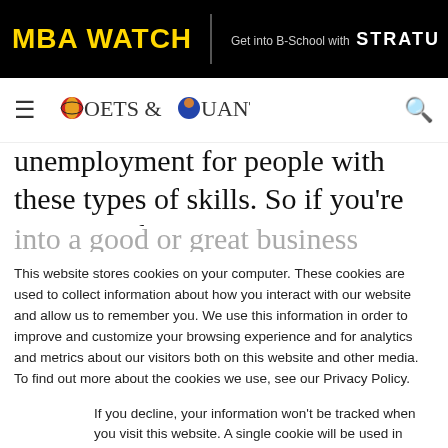MBA WATCH | Get into B-School with STRATU
≡ POETS & QUANTS 🔍
unemployment for people with these types of skills. So if you're the kind of person who can get into a good or great business school, it probably
This website stores cookies on your computer. These cookies are used to collect information about how you interact with our website and allow us to remember you. We use this information in order to improve and customize your browsing experience and for analytics and metrics about our visitors both on this website and other media. To find out more about the cookies we use, see our Privacy Policy.
If you decline, your information won't be tracked when you visit this website. A single cookie will be used in your browser to remember your preference not to be tracked.